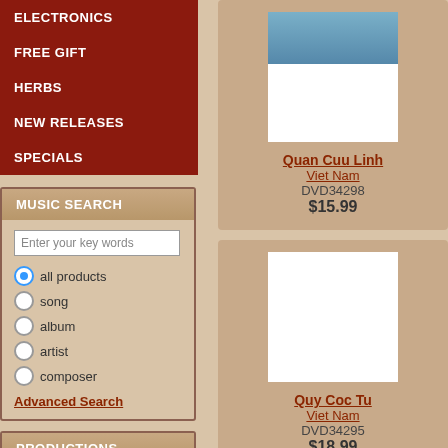ELECTRONICS
FREE GIFT
HERBS
NEW RELEASES
SPECIALS
MUSIC SEARCH
Enter your key words
all products
song
album
artist
composer
Advanced Search
PRODUCTIONS
Viet Nam
[Figure (photo): Product image for Quan Cuu Linh DVD with blue toned top portion visible]
Quan Cuu Linh
Viet Nam
DVD34298
$15.99
[Figure (photo): Blank white product image for Quy Coc Tu DVD]
Quy Coc Tu
Viet Nam
DVD34295
$18.99